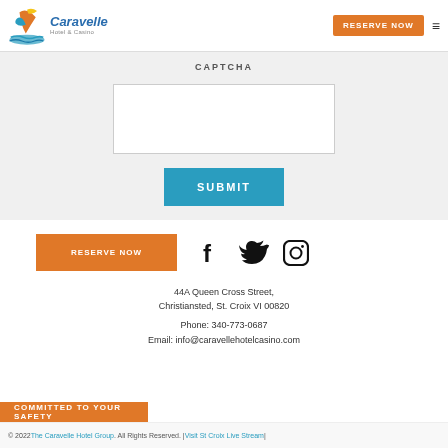[Figure (logo): Caravelle Hotel & Casino logo with colorful bird/sail graphic]
RESERVE NOW
CAPTCHA
SUBMIT
RESERVE NOW
[Figure (illustration): Facebook, Twitter, and Instagram social media icons]
44A Queen Cross Street, Christiansted, St. Croix VI 00820
Phone: 340-773-0687
Email: info@caravellehotelcasino.com
COMMITTED TO YOUR SAFETY
© 2022 The Caravelle Hotel Group. All Rights Reserved. | Visit St Croix Live Stream |